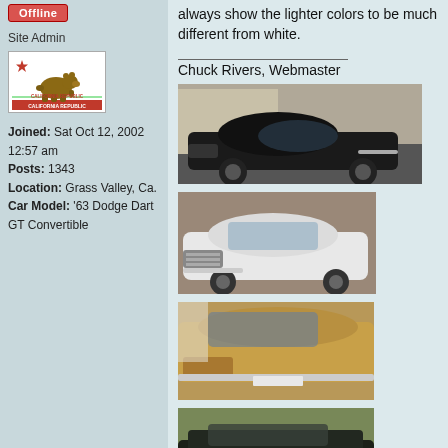Offline
Site Admin
[Figure (photo): California Republic state flag with bear and red stripe]
Joined: Sat Oct 12, 2002 12:57 am
Posts: 1343
Location: Grass Valley, Ca.
Car Model: '63 Dodge Dart GT Convertible
always show the lighter colors to be much different from white.
Chuck Rivers, Webmaster
[Figure (photo): Black classic car, likely 1963 Dodge Dart, front three-quarter view on street]
[Figure (photo): White classic car, likely 1963 Dodge Dart GT, front three-quarter view]
[Figure (photo): Gold/tan classic car, likely 1963 Dodge Dart, front view close-up]
[Figure (photo): Dark classic convertible car, rear/side view in outdoor setting]